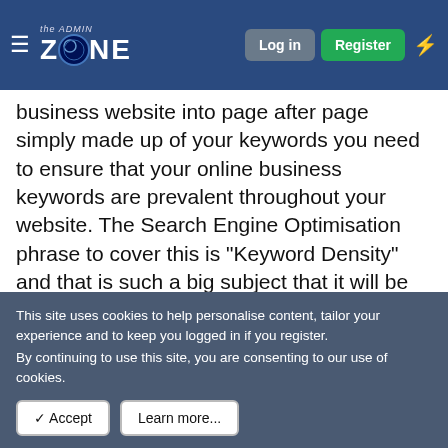the ADMIN ZONE | Log in | Register
business website into page after page simply made up of your keywords you need to ensure that your online business keywords are prevalent throughout your website. The Search Engine Optimisation phrase to cover this is "Keyword Density" and that is such a big subject that it will be covered in a separate article very soon!
Provide quality content.
As I have already suggested simply populating your site with keywords would be useless if done carelessly. Your visitors will be looking for information, and if you don't give them what they are looking for then they will just leave
This site uses cookies to help personalise content, tailor your experience and to keep you logged in if you register.
By continuing to use this site, you are consenting to our use of cookies.